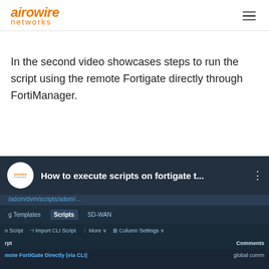airowire networks
In the second video showcases steps to run the script using the remote Fortigate directly through FortiManager.
[Figure (screenshot): Screenshot of a YouTube video thumbnail showing 'How to execute scripts on fortigate t...' with the airowire networks logo, overlaid on a FortiManager interface showing Scripts tab, Import CLI Script toolbar, and a table row for 'mote FortiGate Directly (via CLI)' with Comments column showing 'global comm'.]